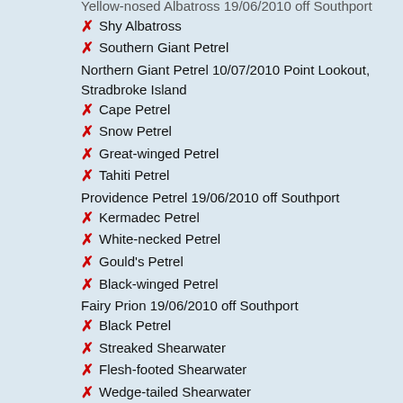Yellow-nosed Albatross 19/06/2010 off Southport (partial, top cut off)
✗ Shy Albatross
✗ Southern Giant Petrel
Northern Giant Petrel 10/07/2010 Point Lookout, Stradbroke Island
✗ Cape Petrel
✗ Snow Petrel
✗ Great-winged Petrel
✗ Tahiti Petrel
Providence Petrel 19/06/2010 off Southport
✗ Kermadec Petrel
✗ White-necked Petrel
✗ Gould's Petrel
✗ Black-winged Petrel
Fairy Prion 19/06/2010 off Southport
✗ Black Petrel
✗ Streaked Shearwater
✗ Flesh-footed Shearwater
✗ Wedge-tailed Shearwater
✗ Buller's Shearwater
✗ Short-tailed Shearwater
✗ Sooty Shearwater
✗ Hutton's Shearwater